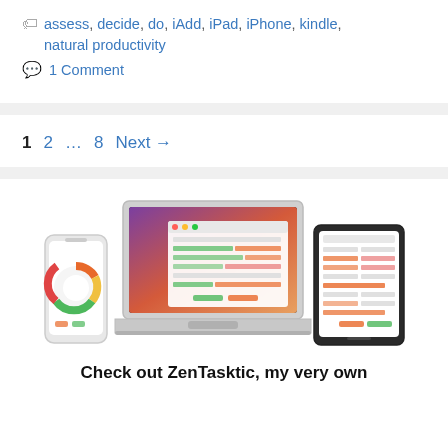assess, decide, do, iAdd, iPad, iPhone, kindle, natural productivity
1 Comment
1  2  …  8  Next →
[Figure (illustration): Three devices (iPhone, MacBook, iPad) showing the ZenTasktic app interface]
Check out ZenTasktic, my very own